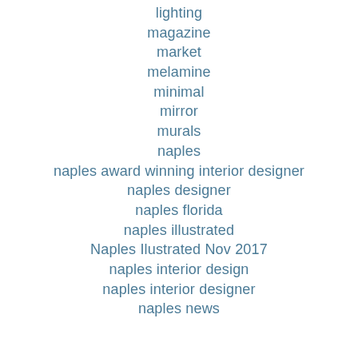lighting
magazine
market
melamine
minimal
mirror
murals
naples
naples award winning interior designer
naples designer
naples florida
naples illustrated
Naples Ilustrated Nov 2017
naples interior design
naples interior designer
naples news